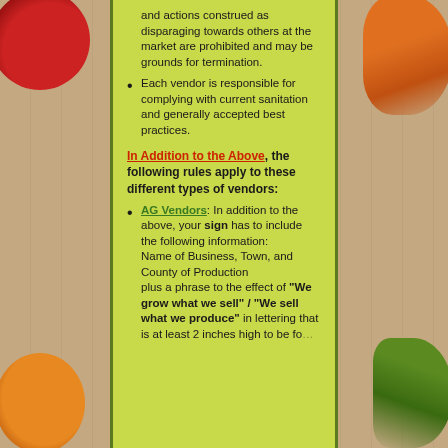and actions construed as disparaging towards others at the market are prohibited and may be grounds for termination.
Each vendor is responsible for complying with current sanitation and generally accepted best practices.
In Addition to the Above, the following rules apply to these different types of vendors:
AG Vendors: In addition to the above, your sign has to include the following information: Name of Business, Town, and County of Production plus a phrase to the effect of "We grow what we sell" / "We sell what we produce" in lettering that is at least 2 inches high to be found